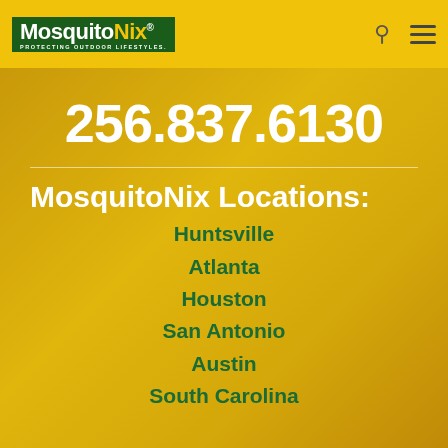[Figure (logo): MosquitoNix logo with green background, white text 'MosquitoNix' and tagline 'PROTECTING OUTDOOR LIFESTYLES.']
256.837.6130
MosquitoNix Locations:
Huntsville
Atlanta
Houston
San Antonio
Austin
South Carolina